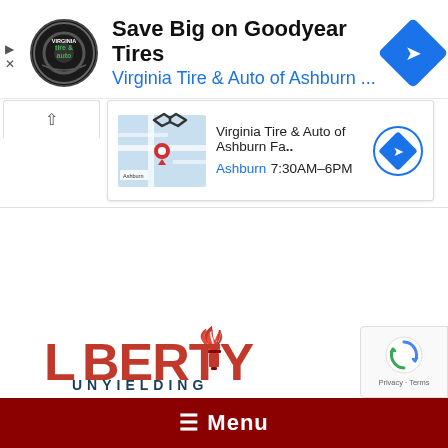[Figure (screenshot): Google ad banner for Virginia Tire & Auto of Ashburn with logo, title 'Save Big on Goodyear Tires', subtitle 'Virginia Tire & Auto of Ashburn ...', and blue navigation diamond icon]
[Figure (screenshot): Google Maps card showing Virginia Tire & Auto of Ashburn Fa.. location with map thumbnail, Ashburn 7:30AM-6PM hours, and navigation circle button]
[Figure (logo): Liberty Unyielding logo with red torch flame icon and red/blue text]
≡ Menu
[Figure (other): reCAPTCHA badge with Privacy - Terms text]